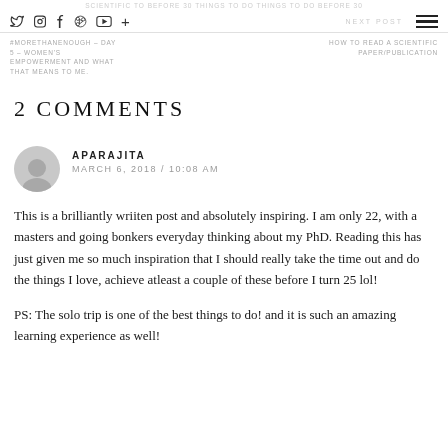SCIENTIFIC TO BEFORE 30 THINGS TO DO THINGS TO DO BEFORE 30
Social icons: twitter, instagram, facebook, pinterest, youtube, plus
NEXT POST
#MORETHANENOUGH – DAY 5 – WOMEN'S EMPOWERMENT AND WHAT THAT MEANS TO ME.   HOW TO READ A SCIENTIFIC PAPER/PUBLICATION
2 COMMENTS
APARAJITA
MARCH 6, 2018 / 10:08 AM
This is a brilliantly wriiten post and absolutely inspiring. I am only 22, with a masters and going bonkers everyday thinking about my PhD. Reading this has just given me so much inspiration that I should really take the time out and do the things I love, achieve atleast a couple of these before I turn 25 lol!
PS: The solo trip is one of the best things to do! and it is such an amazing learning experience as well!